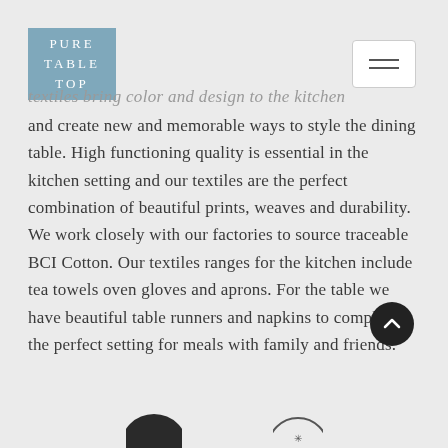[Figure (logo): Pure Table Top logo - light blue square with white text reading PURE TABLE TOP]
[Figure (other): Hamburger menu button - white rounded rectangle with two horizontal lines]
textiles bring color and design to the kitchen and create new and memorable ways to style the dining table. High functioning quality is essential in the kitchen setting and our textiles are the perfect combination of beautiful prints, weaves and durability. We work closely with our factories to source traceable BCI Cotton. Our textiles ranges for the kitchen include tea towels oven gloves and aprons. For the table we have beautiful table runners and napkins to complete the perfect setting for meals with family and friends.
[Figure (other): Scroll to top button - dark circle with upward chevron arrow]
[Figure (other): Partial bottom icons visible at bottom of page]